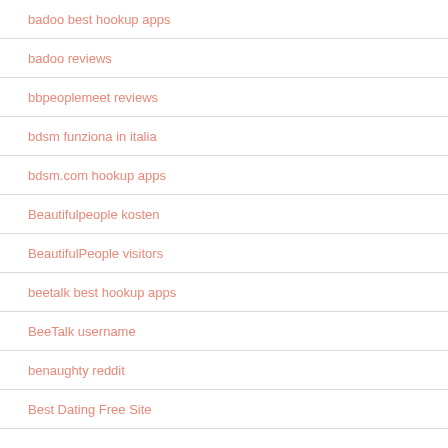badoo best hookup apps
badoo reviews
bbpeoplemeet reviews
bdsm funziona in italia
bdsm.com hookup apps
Beautifulpeople kosten
BeautifulPeople visitors
beetalk best hookup apps
BeeTalk username
benaughty reddit
Best Dating Free Site